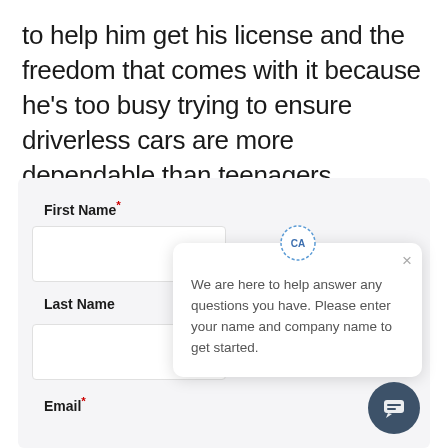to help him get his license and the freedom that comes with it because he's too busy trying to ensure driverless cars are more dependable than teenagers.
First Name*
Last Name
Email*
[Figure (screenshot): Chat popup widget with CA badge icon, close button (×), and message: We are here to help answer any questions you have. Please enter your name and company name to get started. A dark blue circular chat button appears in the bottom right corner.]